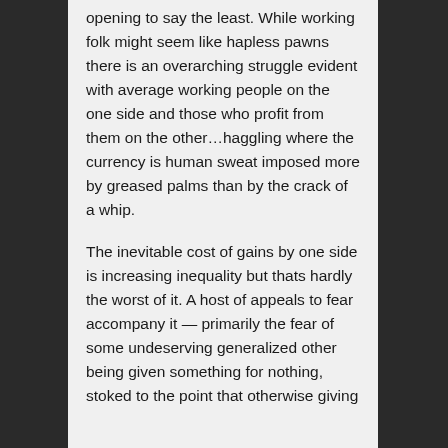opening to say the least. While working folk might seem like hapless pawns there is an overarching struggle evident with average working people on the one side and those who profit from them on the other…haggling where the currency is human sweat imposed more by greased palms than by the crack of a whip.
The inevitable cost of gains by one side is increasing inequality but thats hardly the worst of it. A host of appeals to fear accompany it — primarily the fear of some undeserving generalized other being given something for nothing, stoked to the point that otherwise giving